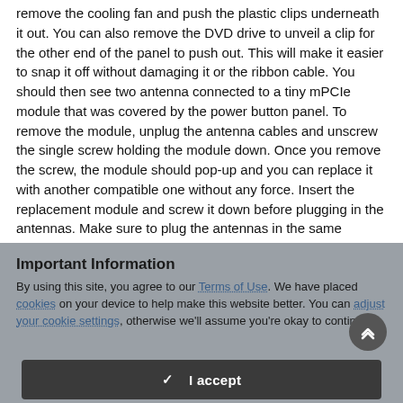remove the cooling fan and push the plastic clips underneath it out. You can also remove the DVD drive to unveil a clip for the other end of the panel to push out. This will make it easier to snap it off without damaging it or the ribbon cable. You should then see two antenna connected to a tiny mPCIe module that was covered by the power button panel. To remove the module, unplug the antenna cables and unscrew the single screw holding the module down. Once you remove the screw, the module should pop-up and you can replace it with another compatible one without any force. Insert the replacement module and screw it down before plugging in the antennas. Make sure to plug the antennas in the same position as the original card or your WiFi just won't work. The Killer card I used had specific markings on where the black and grey
Important Information
By using this site, you agree to our Terms of Use. We have placed cookies on your device to help make this website better. You can adjust your cookie settings, otherwise we'll assume you're okay to continue.
✓  I accept